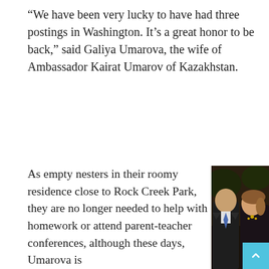“We have been very lucky to have had three postings in Washington. It’s a great honor to be back,” said Galiya Umarova, the wife of Ambassador Kairat Umarov of Kazakhstan.
As empty nesters in their roomy residence close to Rock Creek Park, they are no longer needed to help with homework or attend parent-teacher conferences, although these days, Umarova is
[Figure (photo): Photo of Ambassador Kairat Umarov and his wife Galiya Umarova, a couple posing together at a formal event. The ambassador is wearing a dark suit with a blue tie, and his wife is wearing a dark outfit with jewelry.]